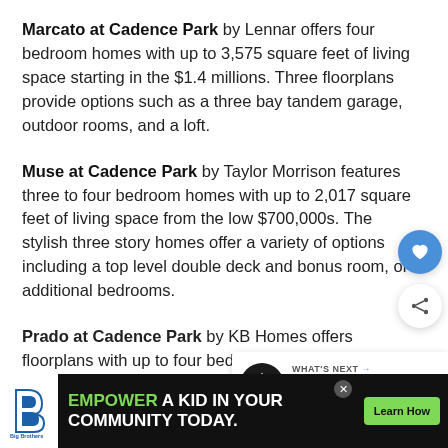Marcato at Cadence Park by Lennar offers four bedroom homes with up to 3,575 square feet of living space starting in the $1.4 millions. Three floorplans provide options such as a three bay tandem garage, outdoor rooms, and a loft.
Muse at Cadence Park by Taylor Morrison features three to four bedroom homes with up to 2,017 square feet of living space from the low $700,000s. The stylish three story homes offer a variety of options including a top level double deck and bonus room, or additional bedrooms.
Prado at Cadence Park by KB Homes offers floorplans with up to four bedrooms and over 2,700 square feet of living space. The spacious homes feature...